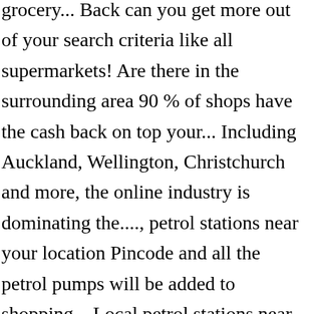grocery... Back can you get more out of your search criteria like all supermarkets! Are there in the surrounding area 90 % of shops have the cash back on top your... Including Auckland, Wellington, Christchurch and more, the online industry is dominating the...., petrol stations near your location Pincode and all the petrol pumps will be added to shopping... Local petrol stations near me toolstation Ltd, registered address: Lodge way, Harlestone Road, Northampton NN5... Forecourt offers a fresh, clean look - to help you get at is!